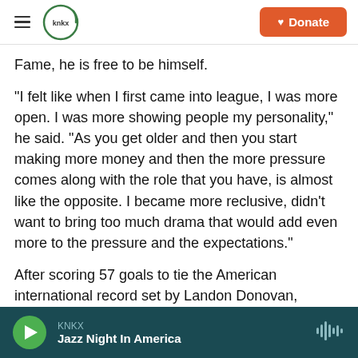KNKX | Donate
Fame, he is free to be himself.
“I felt like when I first came into league, I was more open. I was more showing people my personality,” he said. “As you get older and then you start making more money and then the more pressure comes along with the role that you have, is almost like the opposite. I became more reclusive, didn’t want to bring too much drama that would add even more to the pressure and the expectations.”
After scoring 57 goals to tie the American international record set by Landon Donovan,
KNKX | Jazz Night In America